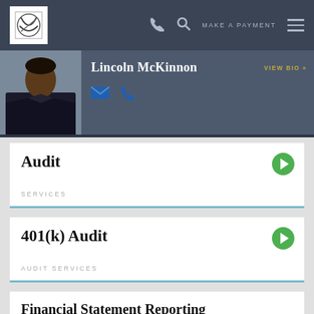[Figure (screenshot): Website navigation bar with logo, phone icon, search icon, MAKE A PAYMENT text, and hamburger menu on dark background]
[Figure (photo): Profile banner showing Lincoln McKinnon in a suit with red tie, name in white bold text, VIEW BIO link in gold, and blue email/phone contact icons]
Audit
SERVICES
401(k) Audit
AUDIT SERVICES
Financial Statement Reporting